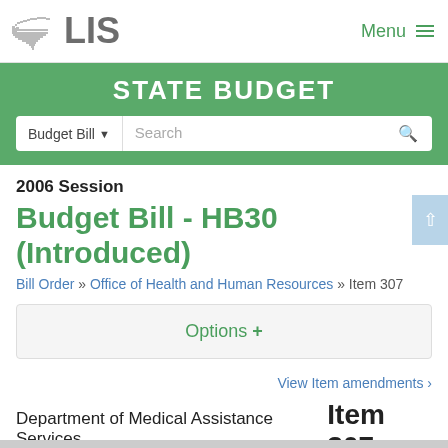LIS  Menu
STATE BUDGET
Budget Bill ▾  Search
2006 Session
Budget Bill - HB30 (Introduced)
Bill Order » Office of Health and Human Resources » Item 307
Options +
View Item amendments ›
Department of Medical Assistance Services  Item 307